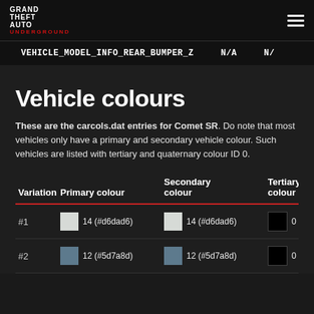Grand Theft Auto Underground
VEHICLE_MODEL_INFO_REAR_BUMPER_Z   N/A   N/A
Vehicle colours
These are the carcols.dat entries for Comet SR. Do note that most vehicles only have a primary and secondary vehicle colour. Such vehicles are listed with tertiary and quaternary colour ID 0.
| Variation | Primary colour | Secondary colour | Tertiary colour |
| --- | --- | --- | --- |
| #1 | 14 (#d6dad6) | 14 (#d6dad6) | 0 (#000000) |
| #2 | 12 (#5d7a8d) | 12 (#5d7a8d) | 0 (#000000) |